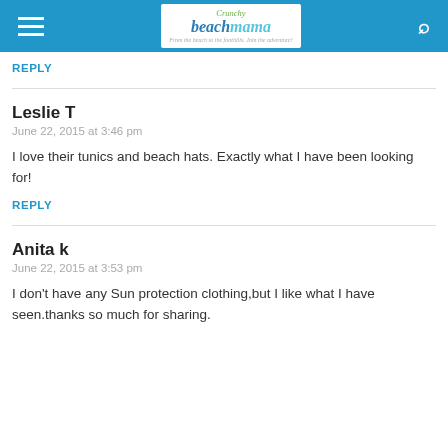Crunchy Beach Mama — From the beach to the foothills. Join the adventure!
REPLY
Leslie T
June 22, 2015 at 3:46 pm
I love their tunics and beach hats. Exactly what I have been looking for!
REPLY
Anita k
June 22, 2015 at 3:53 pm
I don't have any Sun protection clothing,but I like what I have seen.thanks so much for sharing.